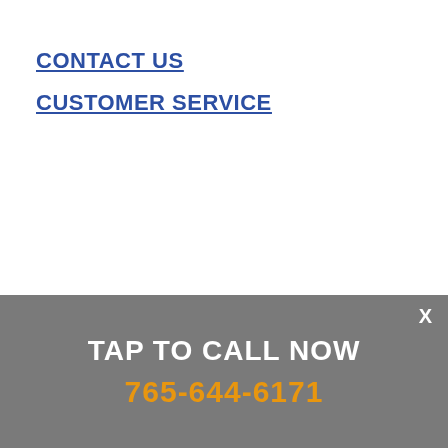CONTACT US
CUSTOMER SERVICE
X
TAP TO CALL NOW
765-644-6171